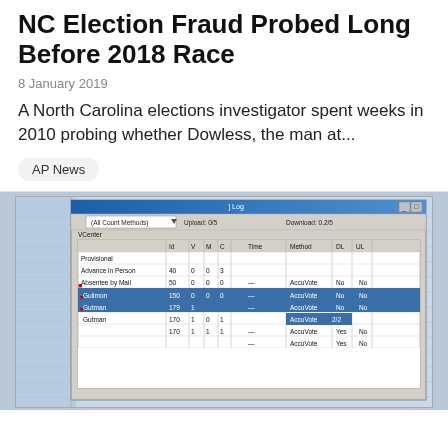NC Election Fraud Probed Long Before 2018 Race
8 January 2019
A North Carolina elections investigator spent weeks in 2010 probing whether Dowless, the man at...
AP News
[Figure (screenshot): Screenshot of a Windows-era election software interface showing a data grid with vote count entries labeled Provisional, Advance in Person, Absentee by Mail, and multiple Guilmon/Gutman rows with columns for Id, V, M, C, Time, Method, DL, UL. Some rows show AccuVote method, one row highlighted in blue.]